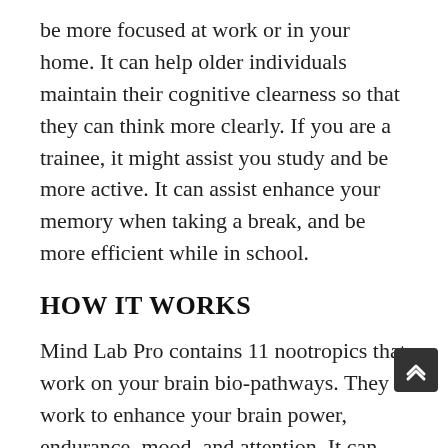be more focused at work or in your home. It can help older individuals maintain their cognitive clearness so that they can think more clearly. If you are a trainee, it might assist you study and be more active. It can assist enhance your memory when taking a break, and be more efficient while in school.
HOW IT WORKS
Mind Lab Pro contains 11 nootropics that work on your brain bio-pathways. They work to enhance your brain power, endurance, mood, and attention. It can likewise boost your mental chemistry, decrease brain fog and fatigue, and repair harmed brain tissue as you age.
" The Brain Circulation" can provide better nutrition inside our brains, for that reason making them operate much better; it can likewise prevent toxic-